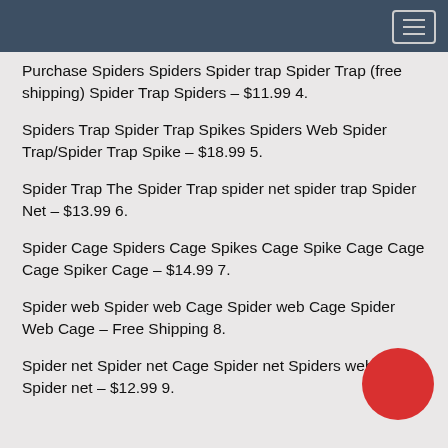Purchase Spiders Spiders Spider trap Spider Trap (free shipping) Spider Trap Spiders – $11.99 4.
Spiders Trap Spider Trap Spikes Spiders Web Spider Trap/Spider Trap Spike – $18.99 5.
Spider Trap The Spider Trap spider net spider trap Spider Net – $13.99 6.
Spider Cage Spiders Cage Spikes Cage Spike Cage Cage Cage Spiker Cage – $14.99 7.
Spider web Spider web Cage Spider web Cage Spider Web Cage – Free Shipping 8.
Spider net Spider net Cage Spider net Spiders webs Spider net – $12.99 9.